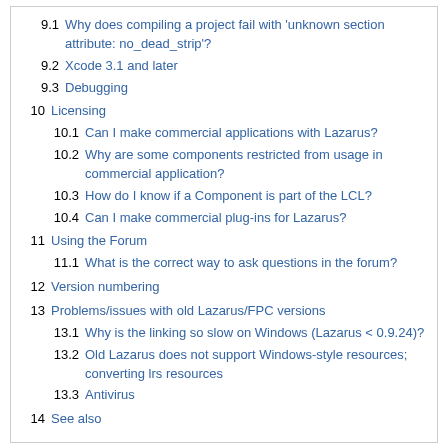9.1 Why does compiling a project fail with 'unknown section attribute: no_dead_strip'?
9.2 Xcode 3.1 and later
9.3 Debugging
10 Licensing
10.1 Can I make commercial applications with Lazarus?
10.2 Why are some components restricted from usage in commercial application?
10.3 How do I know if a Component is part of the LCL?
10.4 Can I make commercial plug-ins for Lazarus?
11 Using the Forum
11.1 What is the correct way to ask questions in the forum?
12 Version numbering
13 Problems/issues with old Lazarus/FPC versions
13.1 Why is the linking so slow on Windows (Lazarus < 0.9.24)?
13.2 Old Lazarus does not support Windows-style resources; converting lrs resources
13.3 Antivirus
14 See also
General
What is Lazarus?